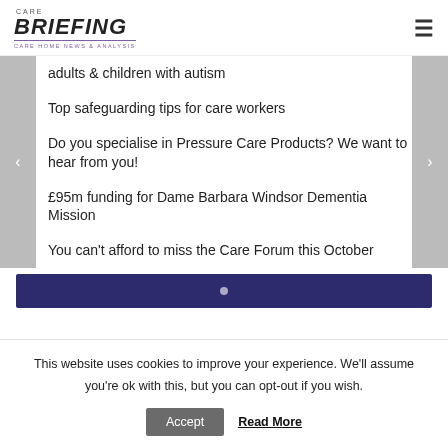CARE BRIEFING — CARE HOME NEWS & ANALYSIS
adults & children with autism
Top safeguarding tips for care workers
Do you specialise in Pressure Care Products? We want to hear from you!
£95m funding for Dame Barbara Windsor Dementia Mission
You can't afford to miss the Care Forum this October
[Figure (other): Dark blue/indigo banner bar with a small white dot, part of a website carousel or advertisement block]
This website uses cookies to improve your experience. We'll assume you're ok with this, but you can opt-out if you wish.
Accept   Read More